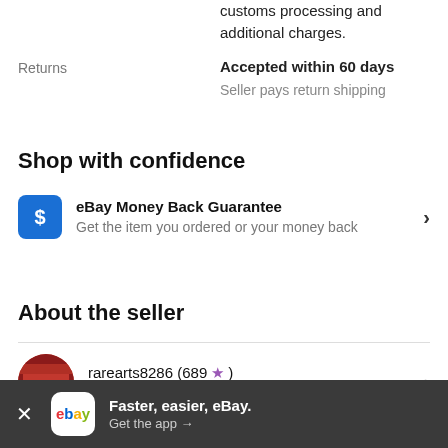customs processing and additional charges.
Returns
Accepted within 60 days
Seller pays return shipping
Shop with confidence
eBay Money Back Guarantee
Get the item you ordered or your money back
About the seller
rarearts8286 (689 ★)
99.1% positive feedback
Faster, easier, eBay.
Get the app →